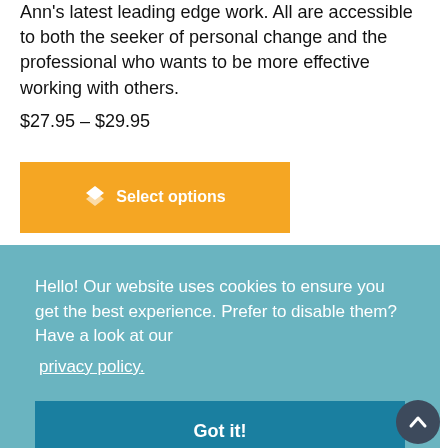Ann's latest leading edge work. All are accessible to both the seeker of personal change and the professional who wants to be more effective working with others.
$27.95 – $29.95
[Figure (screenshot): Orange 'Select options' button with a layers icon]
Hello! Our website uses cookies to ensure you get the best experience. Prefer to disable them? Have a look at our privacy policy.
[Figure (screenshot): Teal 'Got it!' button for cookie consent]